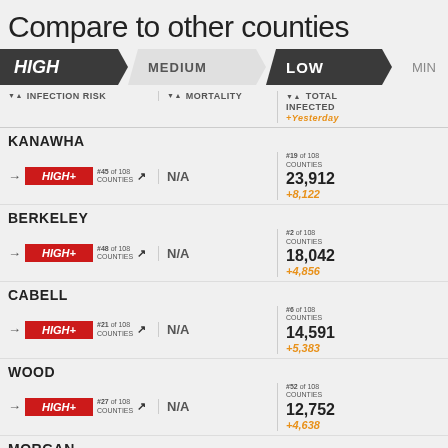Compare to other counties
HIGH | MEDIUM | LOW | MIN
| INFECTION RISK | MORTALITY | TOTAL INFECTED +Yesterday |
| --- | --- | --- |
| KANAWHA |  |  |  |
| → HIGH+ #45 of 108 COUNTIES ↗ | N/A | #19 of 108 COUNTIES | 23,912 +8,122 |
| BERKELEY |  |  |  |
| → HIGH+ #48 of 108 COUNTIES ↗ | N/A | #2 of 108 COUNTIES | 18,042 +4,856 |
| CABELL |  |  |  |
| → HIGH+ #21 of 108 COUNTIES ↗ | N/A | #6 of 108 COUNTIES | 14,591 +5,383 |
| WOOD |  |  |  |
| → HIGH+ #27 of 108 COUNTIES ↗ | N/A | #52 of 108 COUNTIES | 12,752 +4,638 |